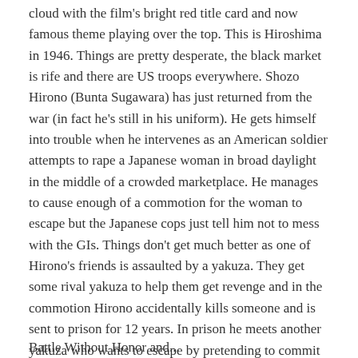cloud with the film's bright red title card and now famous theme playing over the top. This is Hiroshima in 1946. Things are pretty desperate, the black market is rife and there are US troops everywhere. Shozo Hirono (Bunta Sugawara) has just returned from the war (in fact he's still in his uniform). He gets himself into trouble when he intervenes as an American soldier attempts to rape a Japanese woman in broad daylight in the middle of a crowded marketplace. He manages to cause enough of a commotion for the woman to escape but the Japanese cops just tell him not to mess with the GIs. Things don't get much better as one of Hirono's friends is assaulted by a yakuza. They get some rival yakuza to help them get revenge and in the commotion Hirono accidentally kills someone and is sent to prison for 12 years. In prison he meets another yakuza who wants to escape by pretending to commit harakiri and promises to get his yakuza buddies to bail Hirono out if he helps. From this point on Hirono has become embroiled in the new and dangerous world of the Hiroshima criminal underground.
Battle Without Honor and...